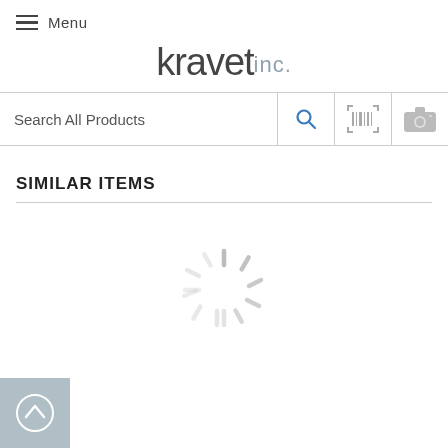Menu
kravet inc.
[Figure (screenshot): Search bar with Search All Products text, magnifying glass icon, barcode scanner icon, and camera icon]
SIMILAR ITEMS
[Figure (other): Loading spinner (rotating dashes animation)]
[Figure (other): Back to top button with upward chevron arrow, light blue-grey background]